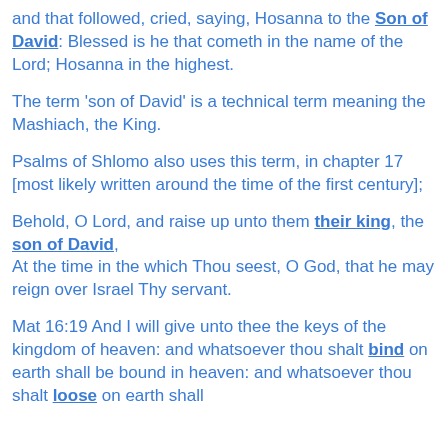and that followed, cried, saying, Hosanna to the Son of David: Blessed is he that cometh in the name of the Lord; Hosanna in the highest.
The term 'son of David' is a technical term meaning the Mashiach, the King.
Psalms of Shlomo also uses this term, in chapter 17 [most likely written around the time of the first century];
Behold, O Lord, and raise up unto them their king, the son of David, At the time in the which Thou seest, O God, that he may reign over Israel Thy servant.
Mat 16:19 And I will give unto thee the keys of the kingdom of heaven: and whatsoever thou shalt bind on earth shall be bound in heaven: and whatsoever thou shalt loose on earth shall